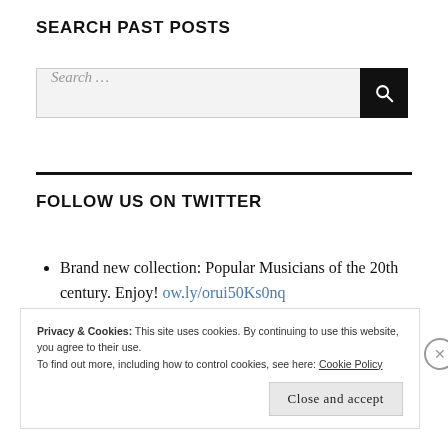SEARCH PAST POSTS
[Figure (screenshot): Search input bar with text 'Search ...' and a black button with magnifying glass icon]
FOLLOW US ON TWITTER
Brand new collection: Popular Musicians of the 20th century. Enjoy! ow.ly/orui50Ks0nq
Privacy & Cookies: This site uses cookies. By continuing to use this website, you agree to their use. To find out more, including how to control cookies, see here: Cookie Policy
Close and accept